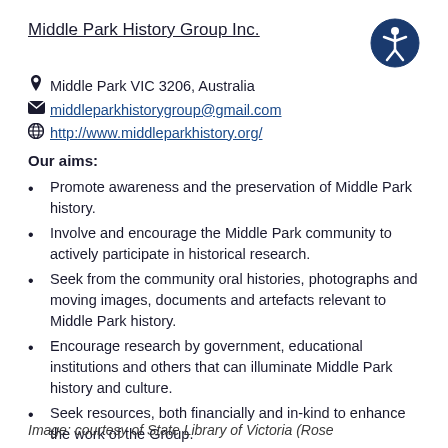Middle Park History Group Inc.
Middle Park VIC 3206, Australia
middleparkhistorygroup@gmail.com
http://www.middleparkhistory.org/
Our aims:
Promote awareness and the preservation of Middle Park history.
Involve and encourage the Middle Park community to actively participate in historical research.
Seek from the community oral histories, photographs and moving images, documents and artefacts relevant to Middle Park history.
Encourage research by government, educational institutions and others that can illuminate Middle Park history and culture.
Seek resources, both financially and in-kind to enhance the work of the Group.
Image: courtesy of State Library of Victoria (Rose